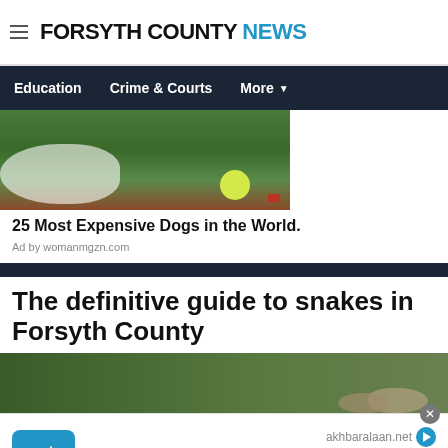FORSYTH COUNTY NEWS
Education  Crime & Courts  More
[Figure (photo): Dog lying in grass with a tennis ball]
25 Most Expensive Dogs in the World.
Ad by womanmgzn.com
The definitive guide to snakes in Forsyth County
[Figure (photo): Snake on rocks/ground outdoors]
[Figure (screenshot): Ad overlay: blue button with Arabic text 'فتح', site akhbaralaan.net, Arabic text رجيم سهل]